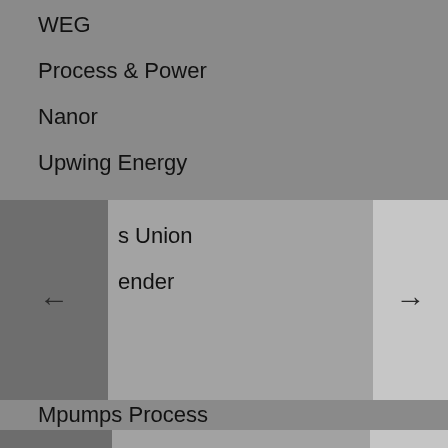WEG
Process & Power
Nanor
Upwing Energy
GemmeCotti srl
s Union
ender
Mpumps Process
Sundyne
Michael Smith Engineers
CECO Environmental
El...